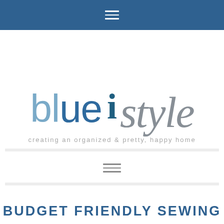Navigation bar with hamburger menu
[Figure (logo): blue i style logo: 'blue' in light and dark blue sans-serif, 'i' in bold dark teal, 'style' in large grey brush script; tagline: creating an organized & pretty, happy home]
BUDGET FRIENDLY SEWING